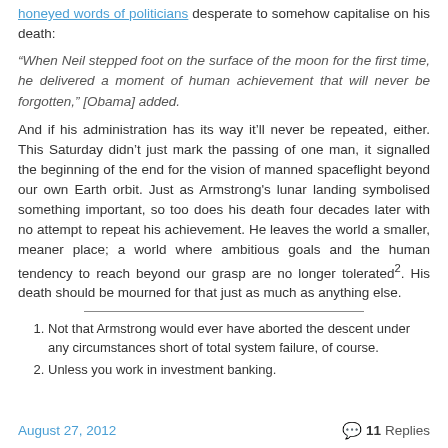honeyed words of politicians desperate to somehow capitalise on his death:
“When Neil stepped foot on the surface of the moon for the first time, he delivered a moment of human achievement that will never be forgotten,” [Obama] added.
And if his administration has its way it’ll never be repeated, either. This Saturday didn’t just mark the passing of one man, it signalled the beginning of the end for the vision of manned spaceflight beyond our own Earth orbit. Just as Armstrong’s lunar landing symbolised something important, so too does his death four decades later with no attempt to repeat his achievement. He leaves the world a smaller, meaner place; a world where ambitious goals and the human tendency to reach beyond our grasp are no longer tolerated². His death should be mourned for that just as much as anything else.
Not that Armstrong would ever have aborted the descent under any circumstances short of total system failure, of course.
Unless you work in investment banking.
August 27, 2012    💬 11 Replies